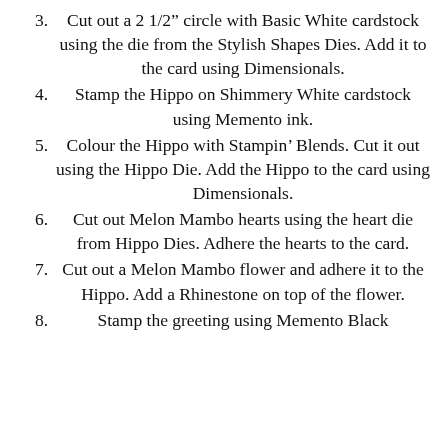3. Cut out a 2 1/2” circle with Basic White cardstock using the die from the Stylish Shapes Dies. Add it to the card using Dimensionals.
4. Stamp the Hippo on Shimmery White cardstock using Memento ink.
5. Colour the Hippo with Stampin’ Blends. Cut it out using the Hippo Die. Add the Hippo to the card using Dimensionals.
6. Cut out Melon Mambo hearts using the heart die from Hippo Dies. Adhere the hearts to the card.
7. Cut out a Melon Mambo flower and adhere it to the Hippo. Add a Rhinestone on top of the flower.
8. Stamp the greeting using Memento Black